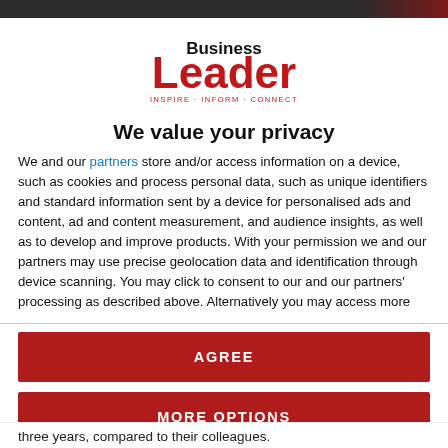[Figure (logo): Business Leader magazine logo — 'Business' in bold black, 'Leader' in large bold red, tagline 'INSPIRE · INFORM · CONNECT' below in small red text]
We value your privacy
We and our partners store and/or access information on a device, such as cookies and process personal data, such as unique identifiers and standard information sent by a device for personalised ads and content, ad and content measurement, and audience insights, as well as to develop and improve products. With your permission we and our partners may use precise geolocation data and identification through device scanning. You may click to consent to our and our partners' processing as described above. Alternatively you may access more
AGREE
MORE OPTIONS
three years, compared to their colleagues.